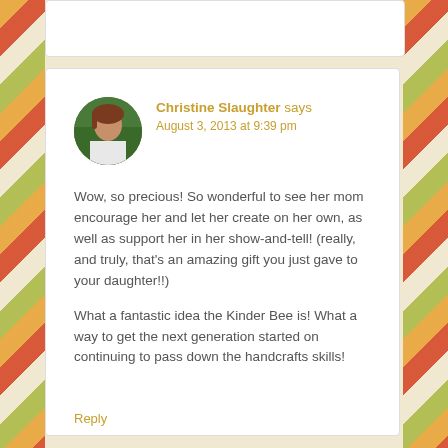Christine Slaughter says
August 3, 2013 at 9:39 pm
Wow, so precious! So wonderful to see her mom encourage her and let her create on her own, as well as support her in her show-and-tell! (really, and truly, that’s an amazing gift you just gave to your daughter!!)
What a fantastic idea the Kinder Bee is! What a way to get the next generation started on continuing to pass down the handcrafts skills!
Reply